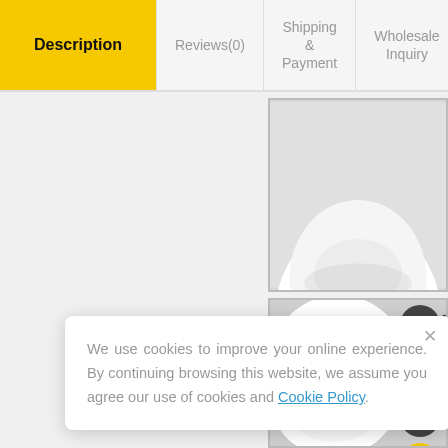Description | Reviews(0) | Shipping & Payment | Wholesale Inquiry
[Figure (photo): Top portion of a white LED light therapy face mask on a mannequin head, showing the forehead area with a decorative dark patterned band]
[Figure (photo): Lower portion of a white LED light therapy face mask on a mannequin face, with dark abstract pattern on the mask's band, showing floating action buttons on the right side]
We use cookies to improve your online experience. By continuing browsing this website, we assume you agree our use of cookies and Cookie Policy.